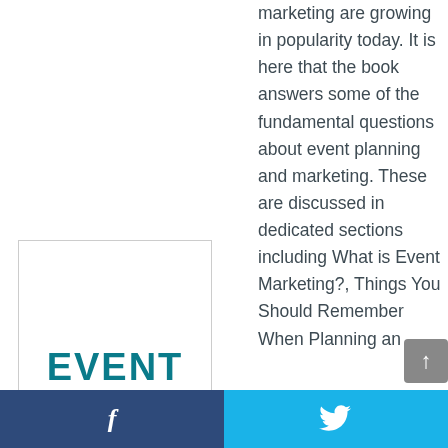marketing are growing in popularity today. It is here that the book answers some of the fundamental questions about event planning and marketing. These are discussed in dedicated sections including What is Event Marketing?, Things You Should Remember When Planning an
[Figure (illustration): Book cover or promotional image showing the word EVENT in teal/dark cyan bold letters on a white background with a grey border]
f  [Twitter bird icon]